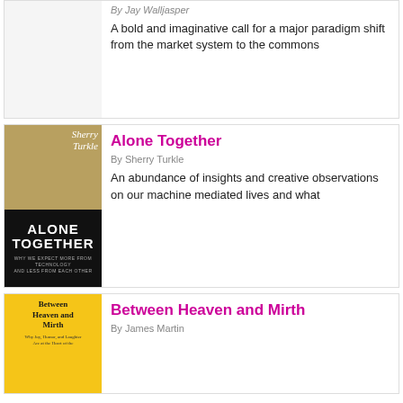By Jay Walljasper
A bold and imaginative call for a major paradigm shift from the market system to the commons
Alone Together
By Sherry Turkle
An abundance of insights and creative observations on our machine mediated lives and what
Between Heaven and Mirth
By James Martin